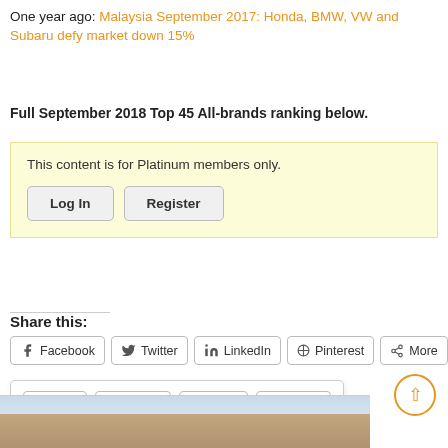One year ago: Malaysia September 2017: Honda, BMW, VW and Subaru defy market down 15%
Full September 2018 Top 45 All-brands ranking below.
This content is for Platinum members only. Log In Register
Share this:
Facebook
Twitter
LinkedIn
Pinterest
More
Print
Tumblr
Email
Reddit
[Figure (photo): Exterior of a stone building with blue windows under a partly cloudy sky]